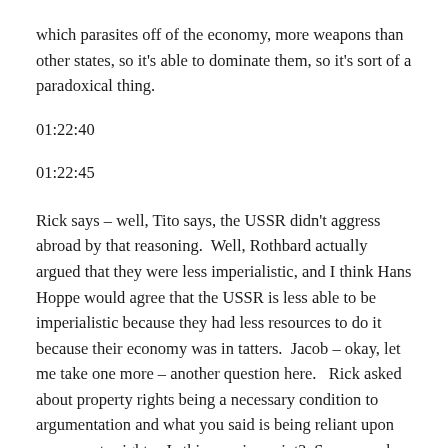which parasites off of the economy, more weapons than other states, so it's able to dominate them, so it's sort of a paradoxical thing.
01:22:40
01:22:45
Rick says – well, Tito says, the USSR didn't aggress abroad by that reasoning.  Well, Rothbard actually argued that they were less imperialistic, and I think Hans Hoppe would agree that the USSR is less able to be imperialistic because they had less resources to do it because their economy was in tatters.  Jacob – okay, let me take one more – another question here.   Rick asked about property rights being a necessary condition to argumentation and what you said is being reliant upon on property rights.  Is this a major point?  Sorry, maybe you can